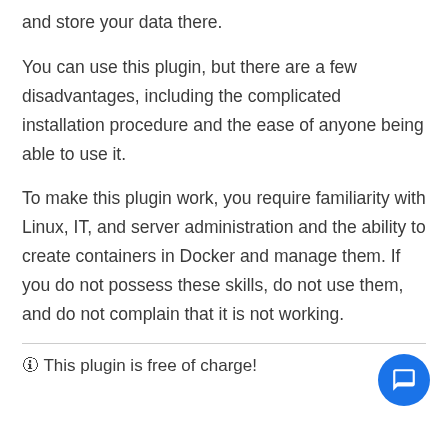and store your data there.
You can use this plugin, but there are a few disadvantages, including the complicated installation procedure and the ease of anyone being able to use it.
To make this plugin work, you require familiarity with Linux, IT, and server administration and the ability to create containers in Docker and manage them. If you do not possess these skills, do not use them, and do not complain that it is not working.
🛈 This plugin is free of charge!